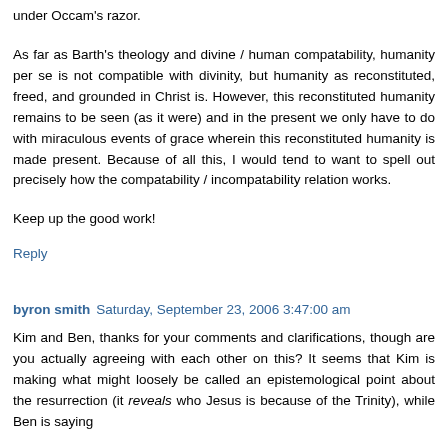under Occam's razor.
As far as Barth's theology and divine / human compatability, humanity per se is not compatible with divinity, but humanity as reconstituted, freed, and grounded in Christ is. However, this reconstituted humanity remains to be seen (as it were) and in the present we only have to do with miraculous events of grace wherein this reconstituted humanity is made present. Because of all this, I would tend to want to spell out precisely how the compatability / incompatability relation works.
Keep up the good work!
Reply
byron smith  Saturday, September 23, 2006 3:47:00 am
Kim and Ben, thanks for your comments and clarifications, though are you actually agreeing with each other on this? It seems that Kim is making what might loosely be called an epistemological point about the resurrection (it reveals who Jesus is because of the Trinity), while Ben is saying